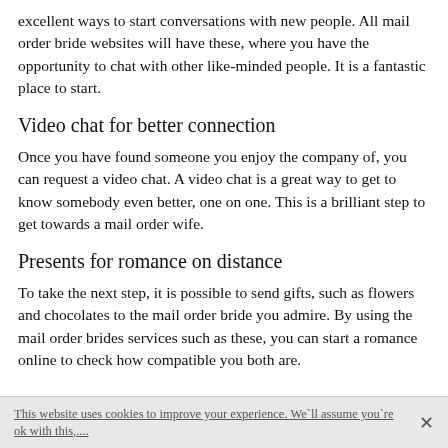excellent ways to start conversations with new people. All mail order bride websites will have these, where you have the opportunity to chat with other like-minded people. It is a fantastic place to start.
Video chat for better connection
Once you have found someone you enjoy the company of, you can request a video chat. A video chat is a great way to get to know somebody even better, one on one. This is a brilliant step to get towards a mail order wife.
Presents for romance on distance
To take the next step, it is possible to send gifts, such as flowers and chocolates to the mail order bride you admire. By using the mail order brides services such as these, you can start a romance online to check how compatible you both are.
This website uses cookies to improve your experience. We`ll assume you`re ok with this,....